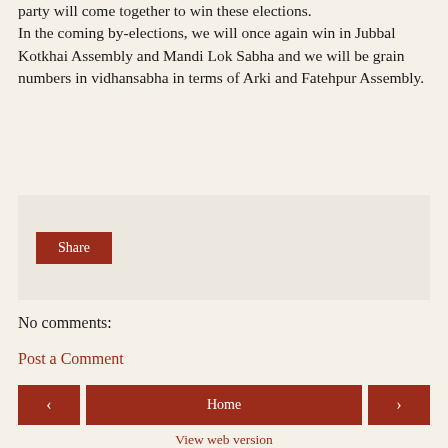party will come together to win these elections. In the coming by-elections, we will once again win in Jubbal Kotkhai Assembly and Mandi Lok Sabha and we will be grain numbers in vidhansabha in terms of Arki and Fatehpur Assembly.
[Figure (screenshot): A light beige/grey box containing a brown 'Share' button on the left side.]
No comments:
Post a Comment
[Figure (screenshot): Navigation row with left arrow button, Home button, and right arrow button, all in dark red/brown color.]
View web version
Powered by Blogger.